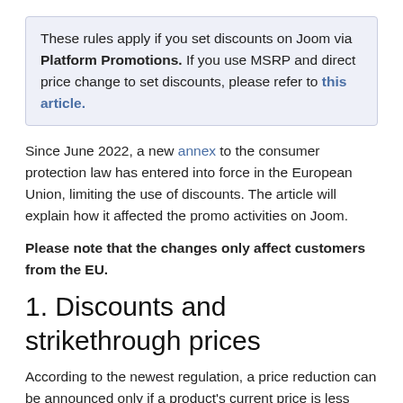These rules apply if you set discounts on Joom via Platform Promotions. If you use MSRP and direct price change to set discounts, please refer to this article.
Since June 2022, a new annex to the consumer protection law has entered into force in the European Union, limiting the use of discounts. The article will explain how it affected the promo activities on Joom.
Please note that the changes only affect customers from the EU.
1. Discounts and strikethrough prices
According to the newest regulation, a price reduction can be announced only if a product's current price is less than its lowest price within a period of 30 days. In this case, the lowest price is considered the “prior price” and appears as a strikethrough price. The new price is also indicated above the strikethrough price.